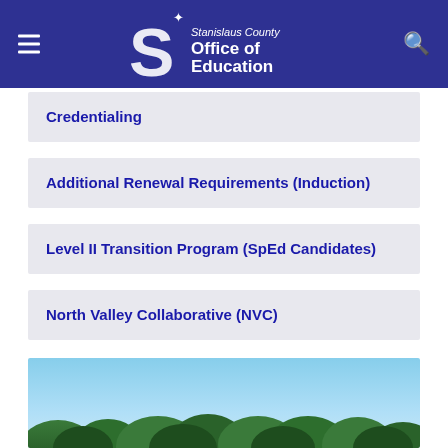Stanislaus County Office of Education
Credentialing
Additional Renewal Requirements (Induction)
Level II Transition Program (SpEd Candidates)
North Valley Collaborative (NVC)
[Figure (photo): Outdoor landscape photo showing blue sky and green treetops]